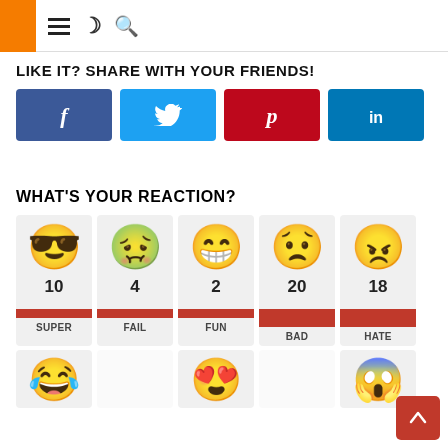≡ ☽ 🔍
LIKE IT? SHARE WITH YOUR FRIENDS!
[Figure (infographic): Four social media share buttons: Facebook (blue), Twitter (light blue), Pinterest (red), LinkedIn (dark blue)]
WHAT'S YOUR REACTION?
[Figure (infographic): Five reaction emoji cards with counts: SUPER=10, FAIL=4, FUN=2, BAD=20, HATE=18. Below: laughing emoji, heart-eyes emoji, shocked emoji. Orange scroll-to-top button.]